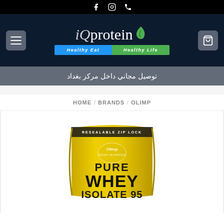iQprotein - Healthy Eat Healthy Life
توصيل مجاني داخل مركز بغداد
HOME / BRANDS / OLIMP
[Figure (photo): Olimp Pure Whey Isolate 95 yellow resealable zip-lock bag product image]